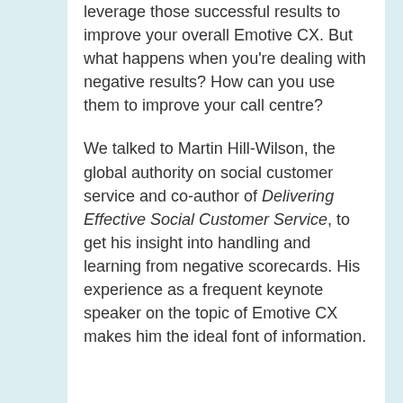leverage those successful results to improve your overall Emotive CX. But what happens when you're dealing with negative results? How can you use them to improve your call centre?
We talked to Martin Hill-Wilson, the global authority on social customer service and co-author of Delivering Effective Social Customer Service, to get his insight into handling and learning from negative scorecards. His experience as a frequent keynote speaker on the topic of Emotive CX makes him the ideal font of information.